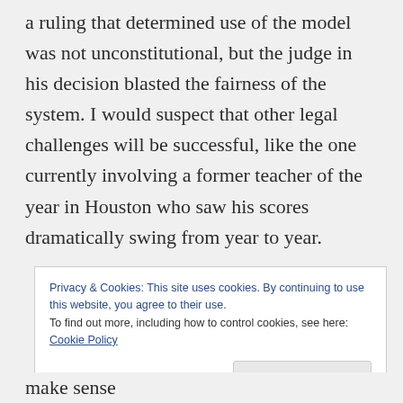a ruling that determined use of the model was not unconstitutional, but the judge in his decision blasted the fairness of the system. I would suspect that other legal challenges will be successful, like the one currently involving a former teacher of the year in Houston who saw his scores dramatically swing from year to year.
Privacy & Cookies: This site uses cookies. By continuing to use this website, you agree to their use. To find out more, including how to control cookies, see here: Cookie Policy
make sense